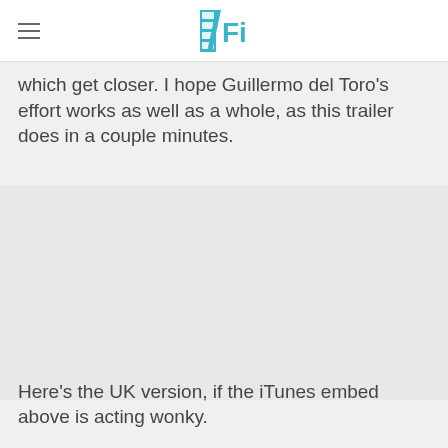/Film
which get closer. I hope Guillermo del Toro's effort works as well as a whole, as this trailer does in a couple minutes.
[Figure (other): Embedded media placeholder area (iTunes embed / video embed), light gray rectangle]
Here's the UK version, if the iTunes embed above is acting wonky.